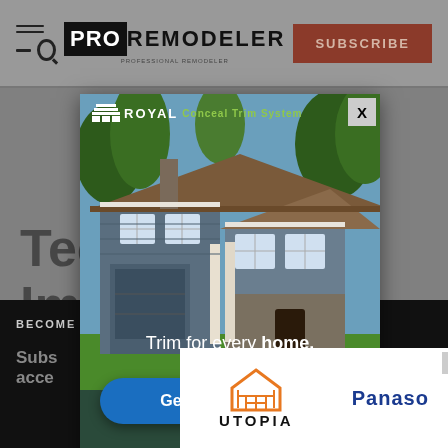[Figure (screenshot): Pro Remodeler website screenshot showing a popup advertisement for Royal Building Products Conceal Trim System with a craftsman-style house image and 'Get a Free Sample' CTA button. A second smaller popup ad at the bottom shows Utopia and Panasonic partner logos. The background shows the Pro Remodeler magazine website header with logo and subscribe button, and a partially visible article title.]